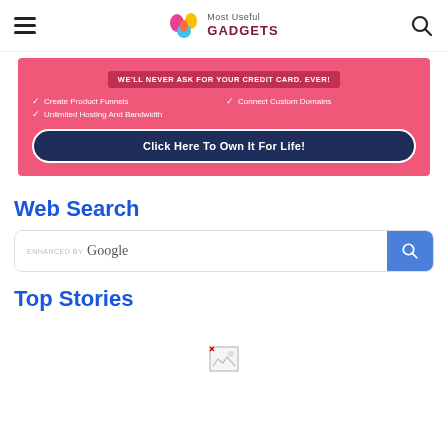Most Useful GADGETS
[Figure (infographic): Pink ad banner: 'WE'LL NEVER ASK FOR YOUR CREDIT CARD. EVER!' with checkmarks listing features: Create Product Funnels, Connect Custom Domains, Unlimited Hosting And Bandwidth. Dark blue CTA button: 'Click Here To Own It For Life!']
Web Search
[Figure (screenshot): Search box with 'enhanced by Google' label and blue search button with magnifying glass icon]
Top Stories
[Figure (photo): Broken/loading image placeholder icon]